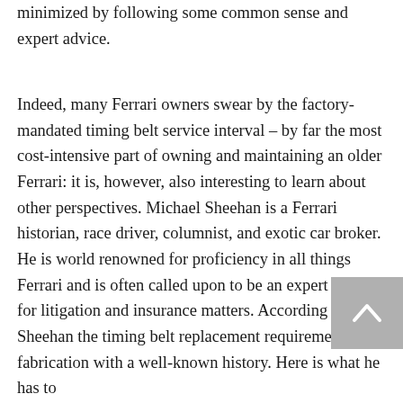minimized by following some common sense and expert advice.
Indeed, many Ferrari owners swear by the factory-mandated timing belt service interval – by far the most cost-intensive part of owning and maintaining an older Ferrari: it is, however, also interesting to learn about other perspectives. Michael Sheehan is a Ferrari historian, race driver, columnist, and exotic car broker. He is world renowned for proficiency in all things Ferrari and is often called upon to be an expert witness for litigation and insurance matters. According to Mr. Sheehan the timing belt replacement requirement is a fabrication with a well-known history. Here is what he has to